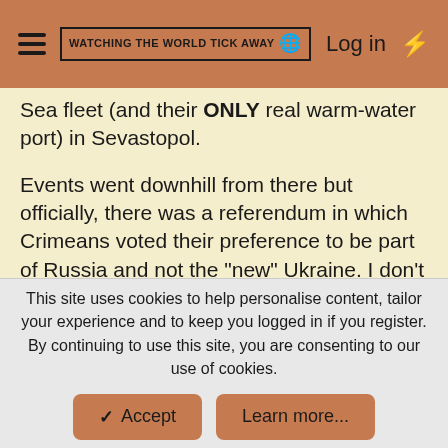Watching The World Tick Away — Log in
Sea fleet (and their ONLY real warm-water port) in Sevastopol.
Events went downhill from there but officially, there was a referendum in which Crimeans voted their preference to be part of Russia and not the "new" Ukraine. I don't know if there was a Stalinist counting of the votes - maybe this was the beginning of Dominion, who knows, but Putin wasn't going to lose that naval base and he wanted it to be at least
This site uses cookies to help personalise content, tailor your experience and to keep you logged in if you register.
By continuing to use this site, you are consenting to our use of cookies.